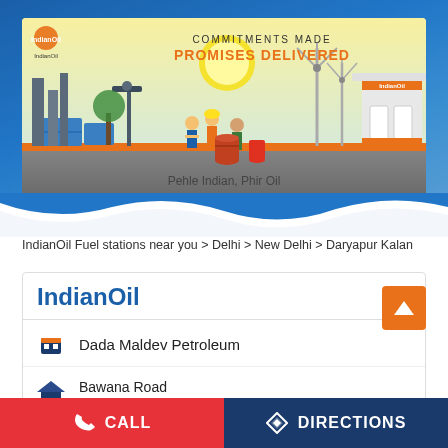[Figure (illustration): IndianOil advertisement banner with yellow background. Text reads: 'COMMITMENTS MADE PROMISES DELIVERED'. Shows illustrated workers at oil refinery, solar panels, wind turbines, oil barrels, and a fuel station on right. Bottom text: 'Pehle Indian, Phir Oil'. IndianOil logo top-left and top-right label.]
IndianOil Fuel stations near you > Delhi > New Delhi > Daryapur Kalan
IndianOil
Dada Maldev Petroleum
Bawana Road
Daryapur Kalan
New Delhi - 110039
CALL
DIRECTIONS